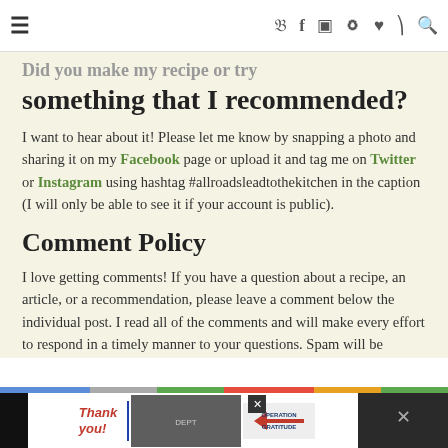☰ social icons navigation bar
Did you make my recipe or try something that I recommended?
I want to hear about it! Please let me know by snapping a photo and sharing it on my Facebook page or upload it and tag me on Twitter or Instagram using hashtag #allroadsleadtothekitchen in the caption (I will only be able to see it if your account is public).
Comment Policy
I love getting comments! If you have a question about a recipe, an article, or a recommendation, please leave a comment below the individual post. I read all of the comments and will make every effort to respond in a timely manner to your questions. Spam will be removed.
[Figure (other): Advertisement banner at bottom showing 'Thank you!' with Operation Gratitude ad featuring firefighters]